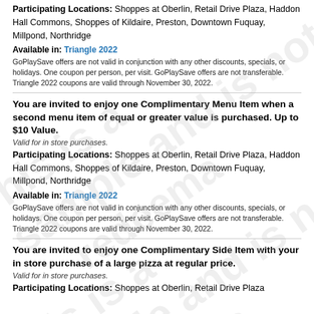Participating Locations: Shoppes at Oberlin, Retail Drive Plaza, Haddon Hall Commons, Shoppes of Kildaire, Preston, Downtown Fuquay, Millpond, Northridge
Available in: Triangle 2022
GoPlaySave offers are not valid in conjunction with any other discounts, specials, or holidays. One coupon per person, per visit. GoPlaySave offers are not transferable. Triangle 2022 coupons are valid through November 30, 2022.
You are invited to enjoy one Complimentary Menu Item when a second menu item of equal or greater value is purchased. Up to $10 Value.
Valid for in store purchases.
Participating Locations: Shoppes at Oberlin, Retail Drive Plaza, Haddon Hall Commons, Shoppes of Kildaire, Preston, Downtown Fuquay, Millpond, Northridge
Available in: Triangle 2022
GoPlaySave offers are not valid in conjunction with any other discounts, specials, or holidays. One coupon per person, per visit. GoPlaySave offers are not transferable. Triangle 2022 coupons are valid through November 30, 2022.
You are invited to enjoy one Complimentary Side Item with your in store purchase of a large pizza at regular price.
Valid for in store purchases.
Participating Locations: Shoppes at Oberlin, Retail Drive Plaza